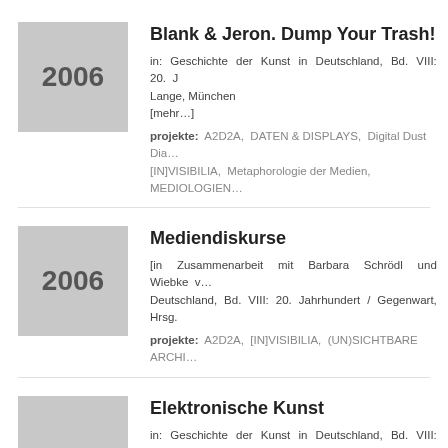Blank & Jeron. Dump Your Trash!
in: Geschichte der Kunst in Deutschland, Bd. VIII: 20. J... Lange, München
[mehr...]
projekte: A2D2A, DATEN & DISPLAYS, Digital Dust Dia... [IN]VISIBILIA, Metaphorologie der Medien, MEDIOLOGIEN...
Mediendiskurse
[in Zusammenarbeit mit Barbara Schrödl und Wiebke v... Deutschland, Bd. VIII: 20. Jahrhundert / Gegenwart, Hrsg.
projekte: A2D2A, [IN]VISIBILIA, (UN)SICHTBARE ARCHI...
Elektronische Kunst
in: Geschichte der Kunst in Deutschland, Bd. VIII: 20. J... Lange, München